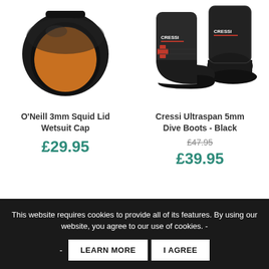[Figure (photo): O'Neill 3mm Squid Lid Wetsuit Cap - black neoprene cap with orange interior lining]
[Figure (photo): Cressi Ultraspan 5mm Dive Boots - Black neoprene dive boots with Cressi branding]
O'Neill 3mm Squid Lid Wetsuit Cap
£29.95
Cressi Ultraspan 5mm Dive Boots - Black
£47.95
£39.95
This website requires cookies to provide all of its features. By using our website, you agree to our use of cookies. -
LEARN MORE
I AGREE